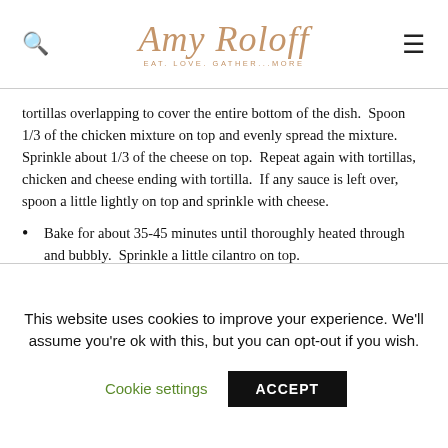Amy Roloff — Eat. Love. Gather...More
tortillas overlapping to cover the entire bottom of the dish.  Spoon 1/3 of the chicken mixture on top and evenly spread the mixture.  Sprinkle about 1/3 of the cheese on top.  Repeat again with tortillas, chicken and cheese ending with tortilla.  If any sauce is left over, spoon a little lightly on top and sprinkle with cheese.
Bake for about 35-45 minutes until thoroughly heated through and bubbly.  Sprinkle a little cilantro on top.
This website uses cookies to improve your experience. We'll assume you're ok with this, but you can opt-out if you wish.
Cookie settings   ACCEPT